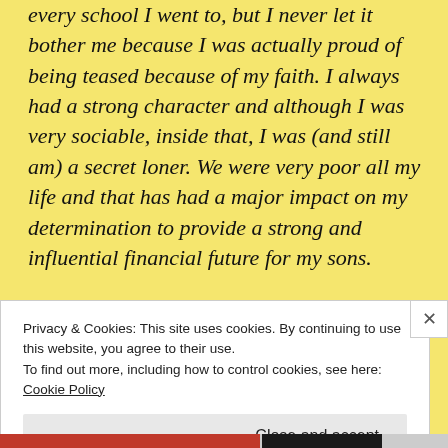every school I went to, but I never let it bother me because I was actually proud of being teased because of my faith. I always had a strong character and although I was very sociable, inside that, I was (and still am) a secret loner. We were very poor all my life and that has had a major impact on my determination to provide a strong and influential financial future for my sons.
3. What is your current job?
Privacy & Cookies: This site uses cookies. By continuing to use this website, you agree to their use.
To find out more, including how to control cookies, see here: Cookie Policy